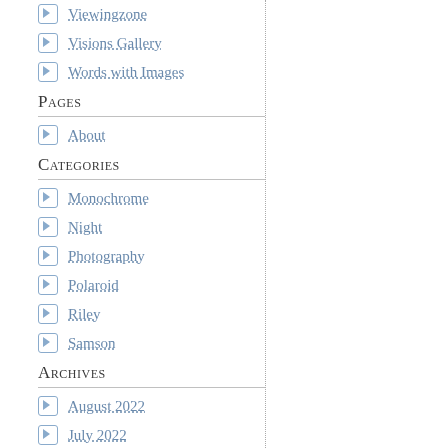Viewingzone
Visions Gallery
Words with Images
Pages
About
Categories
Monochrome
Night
Photography
Polaroid
Riley
Samson
Archives
August 2022
July 2022
June 2022
May 2022